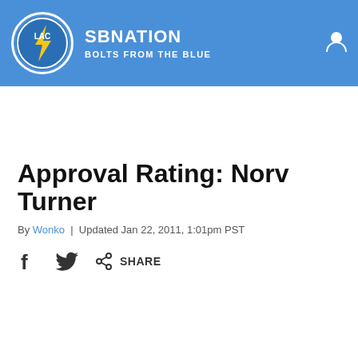SBNation — Bolts From The Blue
Approval Rating: Norv Turner
By Wonko | Updated Jan 22, 2011, 1:01pm PST
SHARE